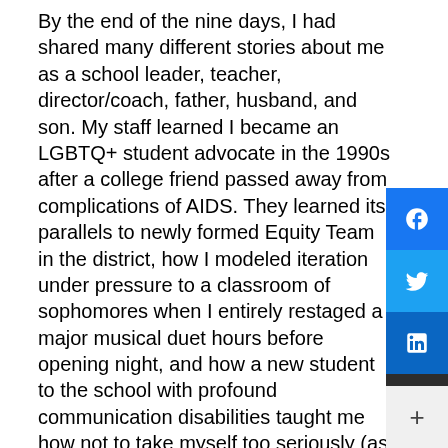By the end of the nine days, I had shared many different stories about me as a school leader, teacher, director/coach, father, husband, and son. My staff learned I became an LGBTQ+ student advocate in the 1990s after a college friend passed away from complications of AIDS. They learned its parallels to newly formed Equity Team in the district, how I modeled iteration under pressure to a classroom of sophomores when I entirely restaged a major musical duet hours before opening night, and how a new student to the school with profound communication disabilities taught me how not to take myself too seriously (as well as his powerful economy of words when he left my school at the age of 22).

These stories shared slices of my life, whether personal or professional. Each story was purposely selected to highlight the specific tasks of the day—each became an opportunity for my faculty and staff to see me in a different light — to know who I am...